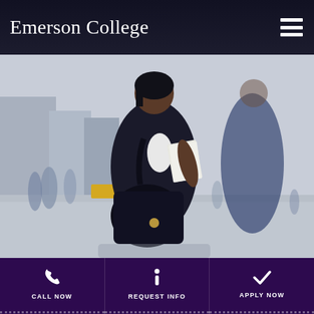Emerson College
[Figure (photo): A professional woman in a dark blazer holding papers and a large black handbag, standing on a busy city street with blurred pedestrians in the background.]
CALL NOW
REQUEST INFO
APPLY NOW